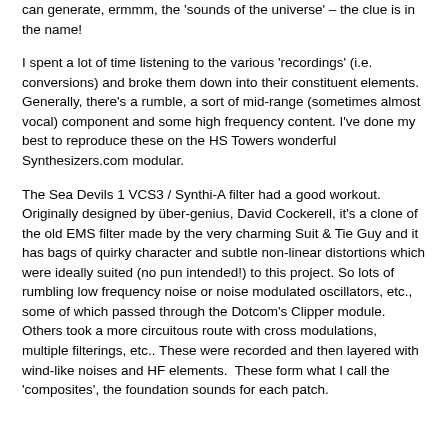can generate, ermmm, the 'sounds of the universe' – the clue is in the name!
I spent a lot of time listening to the various 'recordings' (i.e. conversions) and broke them down into their constituent elements. Generally, there's a rumble, a sort of mid-range (sometimes almost vocal) component and some high frequency content. I've done my best to reproduce these on the HS Towers wonderful Synthesizers.com modular.
The Sea Devils 1 VCS3 / Synthi-A filter had a good workout. Originally designed by über-genius, David Cockerell, it's a clone of the old EMS filter made by the very charming Suit & Tie Guy and it has bags of quirky character and subtle non-linear distortions which were ideally suited (no pun intended!) to this project. So lots of rumbling low frequency noise or noise modulated oscillators, etc., some of which passed through the Dotcom's Clipper module. Others took a more circuitous route with cross modulations, multiple filterings, etc.. These were recorded and then layered with wind-like noises and HF elements.  These form what I call the 'composites', the foundation sounds for each patch.